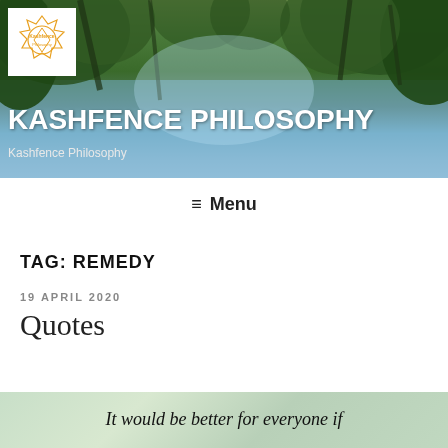[Figure (photo): Website header banner with forest/tree canopy photo background, blue sky visible through trees. White logo box in top-left corner with Kashfence geometric logo in orange/gold. Site title 'KASHFENCE PHILOSOPHY' in large bold white text overlaid on photo.]
KASHFENCE PHILOSOPHY
Kashfence Philosophy
≡ Menu
TAG: REMEDY
19 APRIL 2020
Quotes
[Figure (illustration): Partial view of a quote image with green/nature background showing italic text: 'It would be better for everyone if']